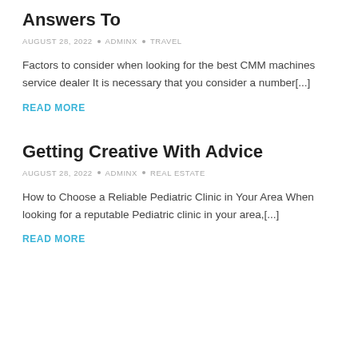Answers To
AUGUST 28, 2022 • ADMINX • TRAVEL
Factors to consider when looking for the best CMM machines service dealer It is necessary that you consider a number[...]
READ MORE
Getting Creative With Advice
AUGUST 28, 2022 • ADMINX • REAL ESTATE
How to Choose a Reliable Pediatric Clinic in Your Area When looking for a reputable Pediatric clinic in your area,[...]
READ MORE